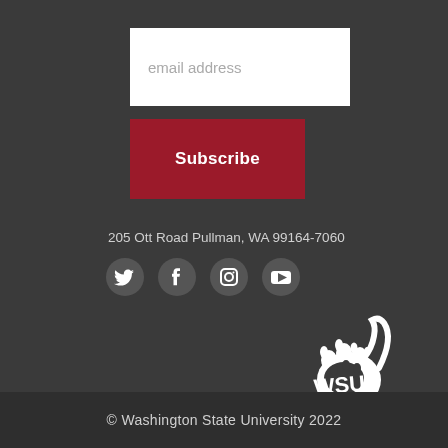email address
Subscribe
205 Ott Road Pullman, WA 99164-7060
[Figure (illustration): Social media icons: Twitter, Facebook, Instagram, YouTube]
[Figure (logo): Washington State University (WSU) Cougar mascot logo in white]
© Washington State University 2022